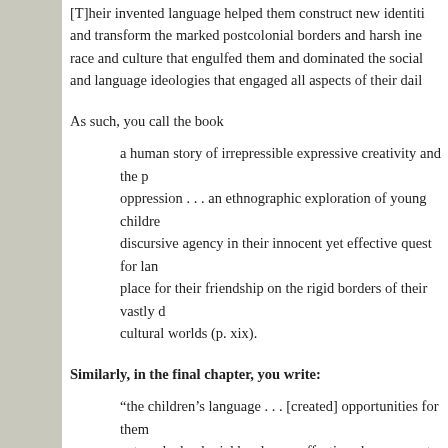[T]heir invented language helped them construct new identities and transform the marked postcolonial borders and harsh inequalities of race and culture that engulfed them and dominated the social, cultural, and language ideologies that engaged all aspects of their daily lives.
As such, you call the book
a human story of irrepressible expressive creativity and the power of oppression . . . an ethnographic exploration of young children's discursive agency in their innocent yet effective quest for language and place for their friendship on the rigid borders of their vastly different cultural worlds (p. xix).
Similarly, in the final chapter, you write:
“the children’s language . . . [created] opportunities for them to cross entrenched colonial borders as effective change agents and a grassroots language policy makers” (p. 95).